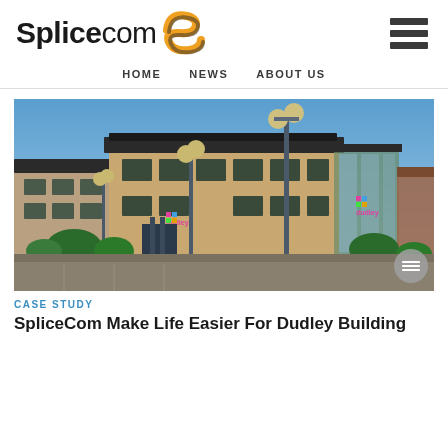SpliceCom
HOME   NEWS   ABOUT US
[Figure (photo): Exterior photograph of a modern two-storey brick office building with Dudley Building Society signage, glass entrance, lamp posts, blue sky background, and greenery in the foreground.]
CASE STUDY
SpliceCom Make Life Easier For Dudley Building